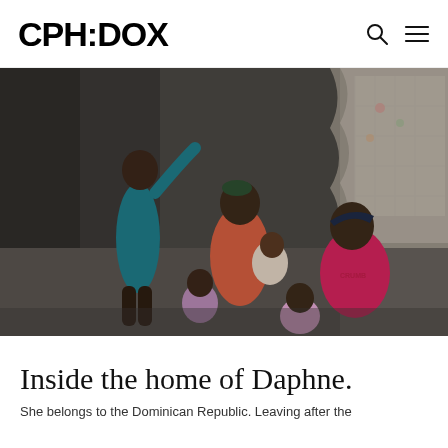CPH:DOX
[Figure (photo): A family inside a modest concrete home in Haiti. A boy in a teal shirt stands against the wall, while two women and several young children sit on the floor. A curtained window is visible in the background.]
Inside the home of Daphne.
She belongs to the Dominican Republic. Leaving after the...